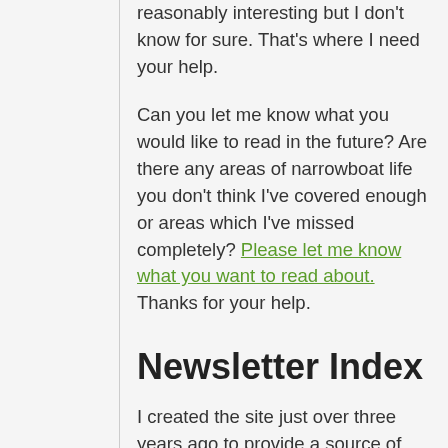reasonably interesting but I don't know for sure. That's where I need your help.
Can you let me know what you would like to read in the future? Are there any areas of narrowboat life you don't think I've covered enough or areas which I've missed completely? Please let me know what you want to read about. Thanks for your help.
Newsletter Index
I created the site just over three years ago to provide a source of information for anyone interested in narrowboats and the possibility of living on one full time.  The site has grown to encompass a